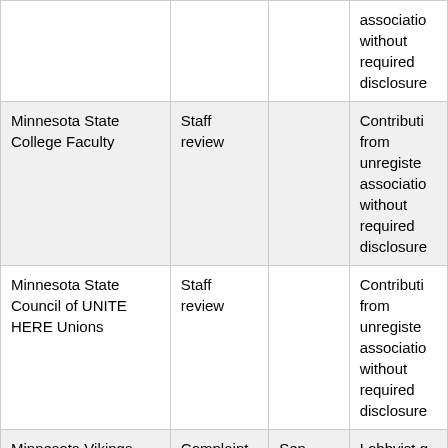|  |  |  |  |
| --- | --- | --- | --- |
|  |  |  | association without required disclosure |
| Minnesota State College Faculty | Staff review |  | Contributions from unregistered association without required disclosure |
| Minnesota State Council of UNITE HERE Unions | Staff review |  | Contributions from unregistered association without required disclosure |
| Minnesota Vikings Football Club | Complaint | Sen. John Marty | Lobbyist gift ban |
| Minnesota Young Republicans Local Club CD #8 | Staff review |  | Contributions from unregistered association |